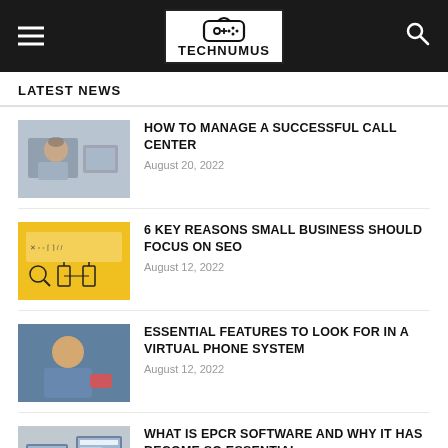TECHNUMUS
LATEST NEWS
[Figure (photo): Person at call center with headset]
HOW TO MANAGE A SUCCESSFUL CALL CENTER
August 20, 2022
[Figure (illustration): Yellow background with SEO icons and figures]
6 KEY REASONS SMALL BUSINESS SHOULD FOCUS ON SEO
August 12, 2022
[Figure (photo): Woman smiling holding a phone]
ESSENTIAL FEATURES TO LOOK FOR IN A VIRTUAL PHONE SYSTEM
August 12, 2022
[Figure (photo): Person working on computer with monitors showing charts]
WHAT IS EPCR SOFTWARE AND WHY IT HAS BECOME SO ESSENTIAL
August 3, 2022